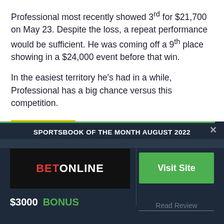Professional most recently showed 3rd for $21,700 on May 23. Despite the loss, a repeat performance would be sufficient. He was coming off a 9th place showing in a $24,000 event before that win.
In the easiest territory he’s had in a while, Professional has a big chance versus this competition.
BEST BET
[Figure (infographic): Sportsbook of the Month August 2022 popup with BetOnline logo, Visit Site button, $3000 BONUS, and Read Review link]